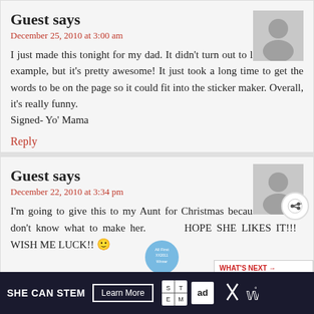Guest says
December 25, 2010 at 3:00 am
I just made this tonight for my dad. It didn't turn out to look like the example, but it's pretty awesome! It just took a long time to get the words to be on the page so it could fit into the sticker maker. Overall, it's really funny.
Signed- Yo' Mama
Reply
Guest says
December 22, 2010 at 3:34 pm
I'm going to give this to my Aunt for Christmas because i really don't know what to make her. HOPE SHE LIKES IT!!! WISH ME LUCK!! 🙂
[Figure (other): WHAT'S NEXT advertisement overlay showing Nail Polish Seashells]
[Figure (other): SHE CAN STEM Learn More advertisement banner at bottom of page]